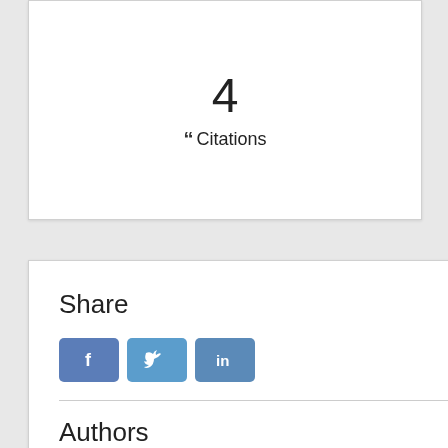4
“Citations
Share
[Figure (other): Social share buttons: Facebook (f), Twitter (bird icon), LinkedIn (in)]
Authors
Nick G. Riches (Newcastle University) [email icon]
Maria Garraffa [ORCID icon] (Heriot Watt University)
Download